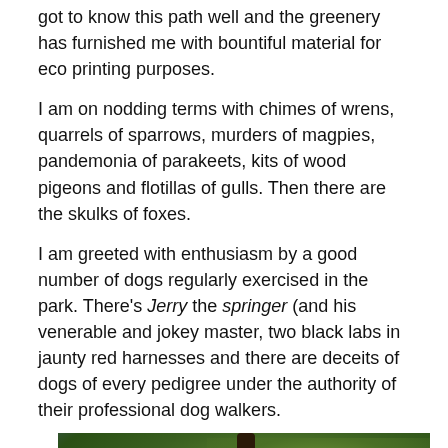got to know this path well and the greenery has furnished me with bountiful material for eco printing purposes.
I am on nodding terms with chimes of wrens, quarrels of sparrows, murders of magpies, pandemonia of parakeets, kits of wood pigeons and flotillas of gulls. Then there are the skulks of foxes.
I am greeted with enthusiasm by a good number of dogs regularly exercised in the park. There's Jerry the springer (and his venerable and jokey master, two black labs in jaunty red harnesses and there are deceits of dogs of every pedigree under the authority of their professional dog walkers.
[Figure (photo): Photograph of a large tree viewed from below, showing a dark trunk and branches with green foliage against a blue-purple sky.]